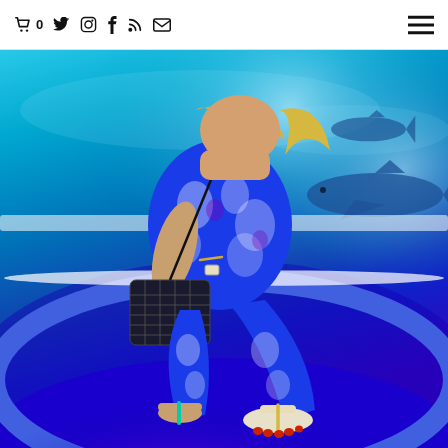cart 0 | twitter | instagram | facebook | rss | email | menu
[Figure (photo): A woman wearing a blue floral jumpsuit sits crouched in front of an aquarium fish tank tunnel. She holds a Dior monogram handbag and wears sandals. The background shows blue aquarium water with a shark visible on the right. The floor has a purple glow from the aquarium tunnel lighting.]